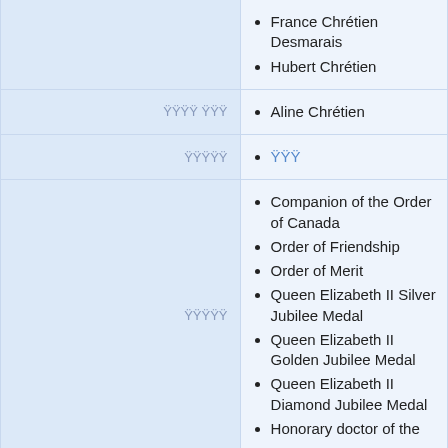| (children) | France Chrétien Desmarais
Hubert Chrétien |
| ជីដូនជីតា ជីបូព | Aline Chrétien |
| សញ្ជាតិ | (link) |
| សញ្ជាតិ | Companion of the Order of Canada
Order of Friendship
Order of Merit
Queen Elizabeth II Silver Jubilee Medal
Queen Elizabeth II Golden Jubilee Medal
Queen Elizabeth II Diamond Jubilee Medal
Honorary doctor of the |